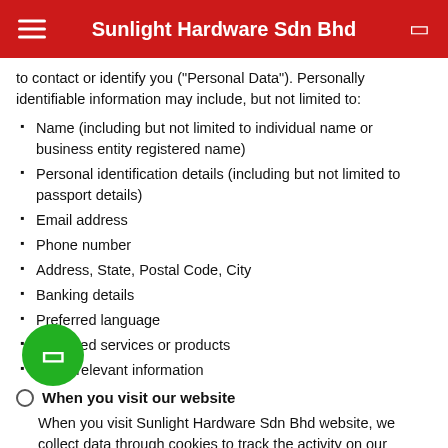Sunlight Hardware Sdn Bhd
to contact or identify you ("Personal Data"). Personally identifiable information may include, but not limited to:
Name (including but not limited to individual name or business entity registered name)
Personal identification details (including but not limited to passport details)
Email address
Phone number
Address, State, Postal Code, City
Banking details
Preferred language
Preferred services or products
Other relevant information
When you visit our website
When you visit Sunlight Hardware Sdn Bhd website, we collect data through cookies to track the activity on our website. The data we collect through cookies consists of data relating to your device, IP address and your usage of the websites. We use the data collected through cookies to